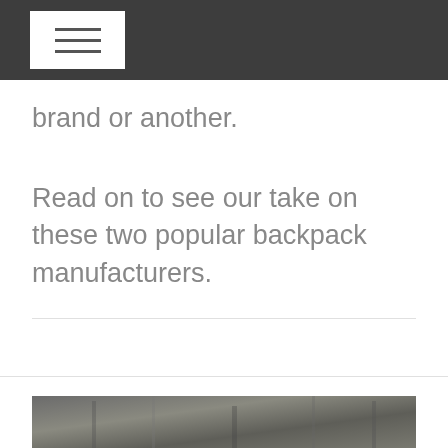brand or another.
Read on to see our take on these two popular backpack manufacturers.
[Figure (photo): Partial bottom photo of backpack content, greyed out, cropped at bottom of page]